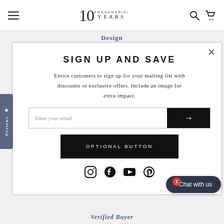10 ANNAHHARIKI YEARS [logo with hamburger menu, search, cart icons]
Design
SIGN UP AND SAVE
Entice customers to sign up for your mailing list with discounts or exclusive offers. Include an image for extra impact.
Enter your email
OPTIONAL BUTTON
[Figure (screenshot): Social media icons row: Instagram, Facebook, YouTube, Pinterest]
Verified Buyer